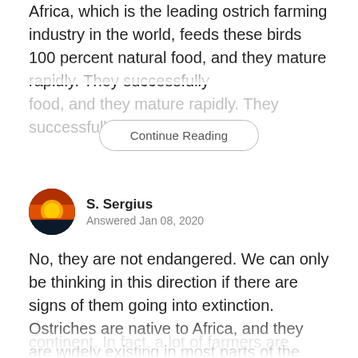Africa, which is the leading ostrich farming industry in the world, feeds these birds 100 percent natural food, and they mature rapidly. They successfully
Continue Reading
S. Sergius
Answered Jan 08, 2020
No, they are not endangered. We can only be thinking in this direction if there are signs of them going into extinction. Ostriches are native to Africa, and they are widely existing in most parts of the continent. In fact, a lot of farmers are investing in
Continue Reading
Advertisement
[Figure (photo): Dark banner image with text THIS DAY IN HISTORY]